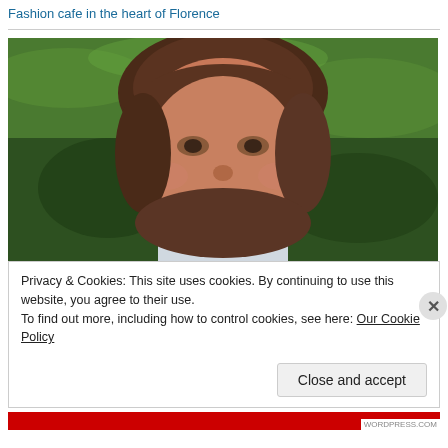Fashion cafe in the heart of Florence
[Figure (photo): Portrait photo of a smiling woman with brown hair, outdoors with green grass background, wearing a light-colored top]
Privacy & Cookies: This site uses cookies. By continuing to use this website, you agree to their use.
To find out more, including how to control cookies, see here: Our Cookie Policy
Close and accept